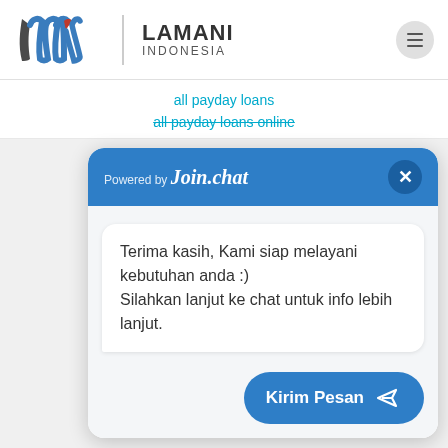[Figure (logo): Lamani Indonesia logo with stylized LW mark and vertical divider, followed by LAMANI INDONESIA text]
all payday loans
all payday loans online
[Figure (screenshot): Join.chat widget header with blue background showing 'Powered by Join.chat' and a close X button]
Terima kasih, Kami siap melayani kebutuhan anda :) Silahkan lanjut ke chat untuk info lebih lanjut.
Kirim Pesan